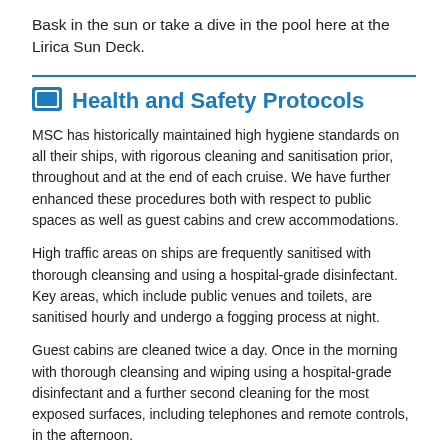Bask in the sun or take a dive in the pool here at the Lirica Sun Deck.
Health and Safety Protocols
MSC has historically maintained high hygiene standards on all their ships, with rigorous cleaning and sanitisation prior, throughout and at the end of each cruise. We have further enhanced these procedures both with respect to public spaces as well as guest cabins and crew accommodations.
High traffic areas on ships are frequently sanitised with thorough cleansing and using a hospital-grade disinfectant. Key areas, which include public venues and toilets, are sanitised hourly and undergo a fogging process at night.
Guest cabins are cleaned twice a day. Once in the morning with thorough cleansing and wiping using a hospital-grade disinfectant and a further second cleaning for the most exposed surfaces, including telephones and remote controls, in the afternoon.